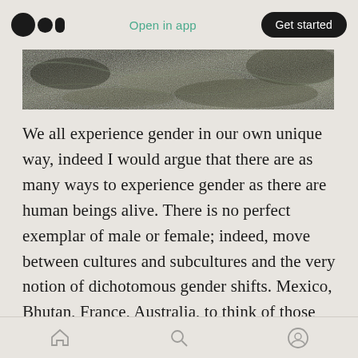Open in app  Get started
[Figure (photo): Close-up photograph of a rock or stone surface with rough, dark granite-like texture.]
We all experience gender in our own unique way, indeed I would argue that there are as many ways to experience gender as there are human beings alive. There is no perfect exemplar of male or female; indeed, move between cultures and subcultures and the very notion of dichotomous gender shifts. Mexico, Bhutan, France, Australia, to think of those countries is to conjure an idealised version of male/female, yet not one person with those boarders exists in a state of gender
Home  Search  Profile